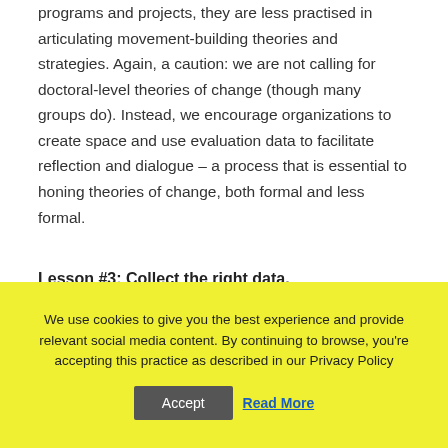programs and projects, they are less practised in articulating movement-building theories and strategies. Again, a caution: we are not calling for doctoral-level theories of change (though many groups do). Instead, we encourage organizations to create space and use evaluation data to facilitate reflection and dialogue – a process that is essential to honing theories of change, both formal and less formal.
Lesson #3: Collect the right data.
We use cookies to give you the best experience and provide relevant social media content. By continuing to browse, you're accepting this practice as described in our Privacy Policy